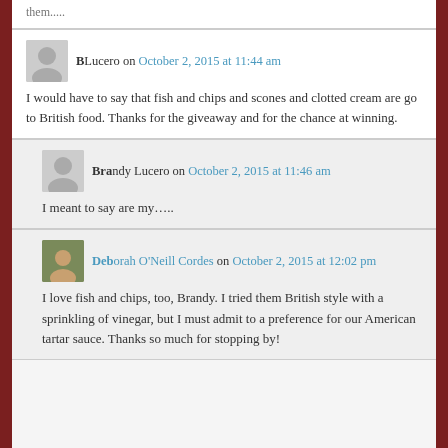them.....
B Lucero on October 2, 2015 at 11:44 am
I would have to say that fish and chips and scones and clotted cream are go to British food. Thanks for the giveaway and for the chance at winning.
Brandy Lucero on October 2, 2015 at 11:46 am
I meant to say are my…..
Deborah O'Neill Cordes on October 2, 2015 at 12:02 pm
I love fish and chips, too, Brandy. I tried them British style with a sprinkling of vinegar, but I must admit to a preference for our American tartar sauce. Thanks so much for stopping by!